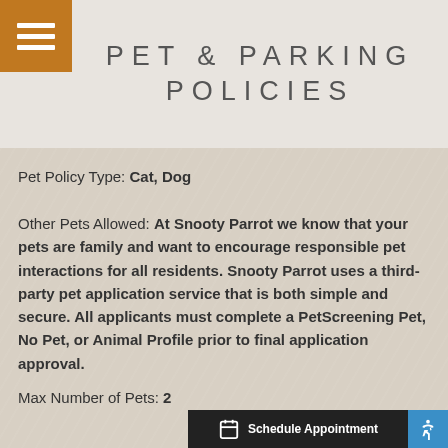PET & PARKING POLICIES
Pet Policy Type: Cat, Dog
Other Pets Allowed: At Snooty Parrot we know that your pets are family and want to encourage responsible pet interactions for all residents. Snooty Parrot uses a third-party pet application service that is both simple and secure. All applicants must complete a PetScreening Pet, No Pet, or Animal Profile prior to final application approval.
Max Number of Pets: 2